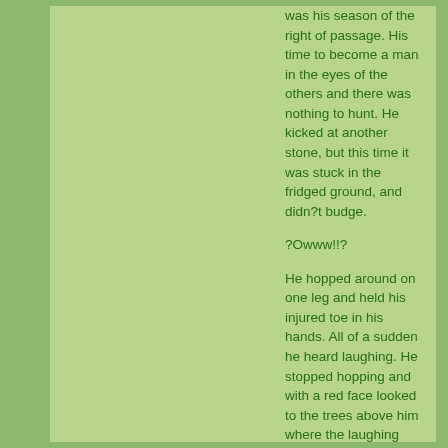was his season of the right of passage. His time to become a man in the eyes of the others and there was nothing to hunt. He kicked at another stone, but this time it was stuck in the fridged ground, and didn?t budge.
?Owww!!?
He hopped around on one leg and held his injured toe in his hands. All of a sudden he heard laughing. He stopped hopping and with a red face looked to the trees above him where the laughing was coming from. It was Skywise, his slightly older friend, and a friend that had gotten to go on his right of passage hunt.
?What are you doing here? Can?t an elf have some peace and quiet to think??
Cutter crossed his arms and glared at Skywise. Skywise was